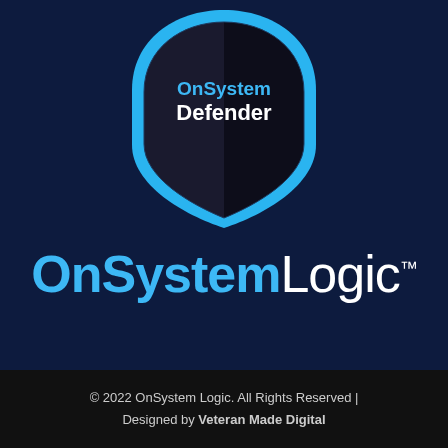[Figure (logo): OnSystem Defender shield logo — a shield shape with a bright cyan/blue outer ring and a dark navy/black interior split into left (lighter black) and right (darker black) halves, with white bold text 'OnSystem' on top and 'Defender' below it inside the shield.]
OnSystemLogic™
© 2022 OnSystem Logic. All Rights Reserved | Designed by Veteran Made Digital